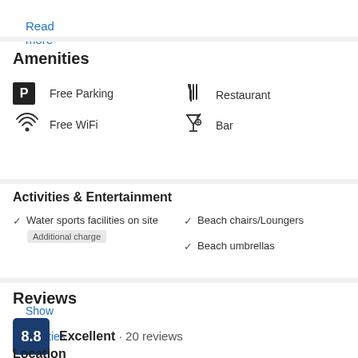Read more
Amenities
Free Parking
Free WiFi
Restaurant
Bar
Show all facilities and services
Activities & Entertainment
Water sports facilities on site
Additional charge
Beach chairs/Loungers
Beach umbrellas
Reviews
8.8 Excellent · 20 reviews
Location